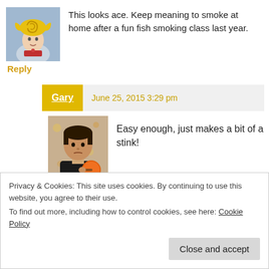[Figure (photo): Avatar photo of a person wearing a yellow snail shell costume hat]
This looks ace. Keep meaning to smoke at home after a fun fish smoking class last year.
Reply
Gary  June 25, 2015 3:29 pm
[Figure (photo): Profile photo of a man holding an orange object]
Easy enough, just makes a bit of a stink!
Reply
Privacy & Cookies: This site uses cookies. By continuing to use this website, you agree to their use.
To find out more, including how to control cookies, see here: Cookie Policy
Close and accept
[Figure (photo): Partial avatar photo at bottom]